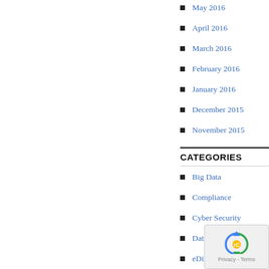May 2016
April 2016
March 2016
February 2016
January 2016
December 2015
November 2015
CATEGORIES
Big Data
Compliance
Cyber Security
Data Breach
eDiscovery
Encryption
Forensic
Hacking